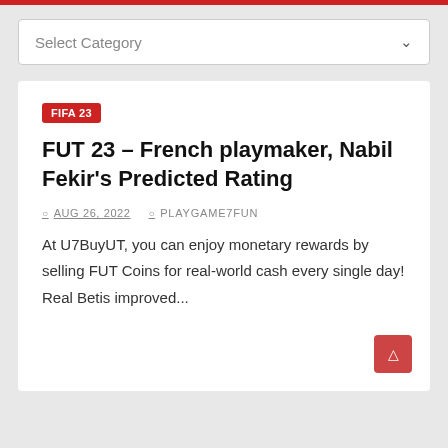Select Category
FIFA 23
FUT 23 – French playmaker, Nabil Fekir's Predicted Rating
AUG 26, 2022  PLAYGAME7FUN
At U7BuyUT, you can enjoy monetary rewards by selling FUT Coins for real-world cash every single day! Real Betis improved...